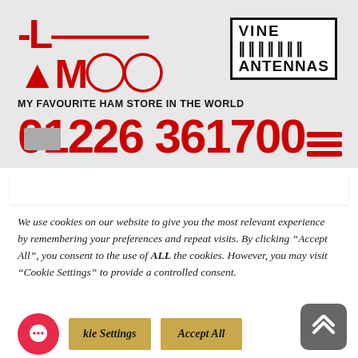[Figure (logo): LAMCO and Vine Antennas logo with tagline 'MY FAVOURITE HAM STORE IN THE WORLD' and phone number 01226 361700]
We use cookies on our website to give you the most relevant experience by remembering your preferences and repeat visits. By clicking “Accept All”, you consent to the use of ALL the cookies. However, you may visit “Cookie Settings” to provide a controlled consent.
Cookie Settings
Accept All